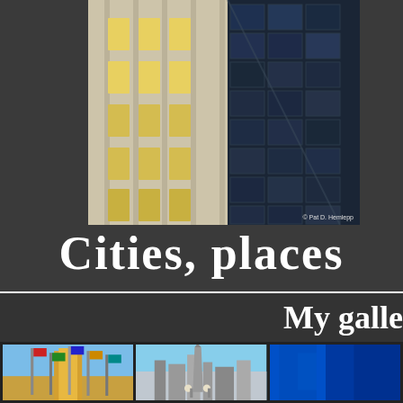[Figure (photo): Architectural photo showing two contrasting buildings: a classic limestone/beige Art Deco facade with gold/yellow accents on the left, and a modern reflective glass curtain-wall building on the right. Copyright © Pat D. Hemlepp.]
Cities, places
[Figure (photo): Section header banner reading 'My gall...' (My gallery, partially visible) in white bold handwritten font on dark gray background]
[Figure (photo): Gallery strip showing three thumbnail photos: 1) Looking up at Rockefeller Center with colorful international flags, 2) Chicago skyline with an obelisk/memorial column in foreground, 3) Partial blue abstract/building image cropped at right edge]